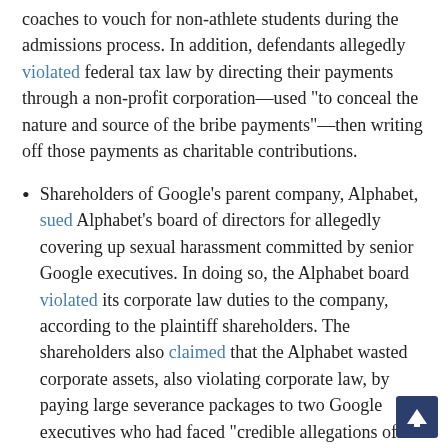coaches to vouch for non-athlete students during the admissions process. In addition, defendants allegedly violated federal tax law by directing their payments through a non-profit corporation—used "to conceal the nature and source of the bribe payments"—then writing off those payments as charitable contributions.
Shareholders of Google's parent company, Alphabet, sued Alphabet's board of directors for allegedly covering up sexual harassment committed by senior Google executives. In doing so, the Alphabet board violated its corporate law duties to the company, according to the plaintiff shareholders. The shareholders also claimed that the Alphabet wasted corporate assets, also violating corporate law, by paying large severance packages to two Google executives who had faced "credible allegations of sexual harassment."